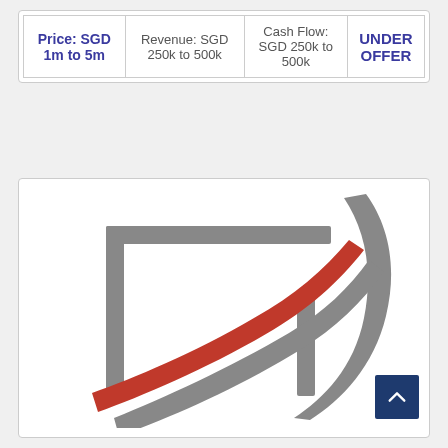| Price | Revenue | Cash Flow | Status |
| --- | --- | --- | --- |
| Price: SGD 1m to 5m | Revenue: SGD 250k to 500k | Cash Flow: SGD 250k to 500k | UNDER OFFER |
[Figure (logo): Company logo with grey angular bracket/frame design and two swooping stripes — one dark grey and one red/orange — suggesting upward growth or speed.]